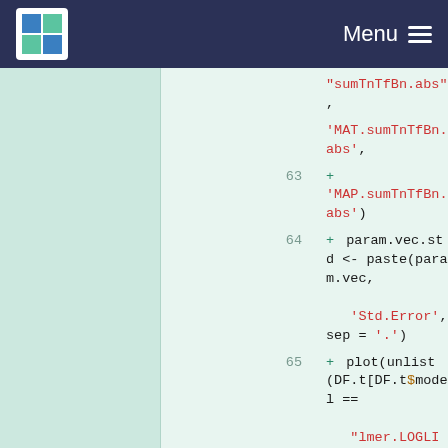Menu
Code listing with R code lines 63-72:
63: + 'MAP.sumTnTfBn.abs')
64: + param.vec.std <- paste(param.vec, 'Std.Error', sep = '.')
65: + plot(unlist(DF.t[DF.t$model == "lmer.LOGLIN.ER.AD.Tf.MAT.MAP", param.vec]),
66: + xaxt = 'n', ylab = 'std parameters', xlab = NA,
67: + main = i, ylim = c(-1, 1))
68: + abline(h = 0)
69: + axis(1, 1:length(param.vec), labels = param.vec, las = 3)
70: + fun.plot.error.bar(1:length(param.ve c),
71: + DF.t[DF.t$model == "lmer.LOGLIN.ER.AD.Tf.MAT.MAP", param.vec],
72: + DF.t[DF.t$model